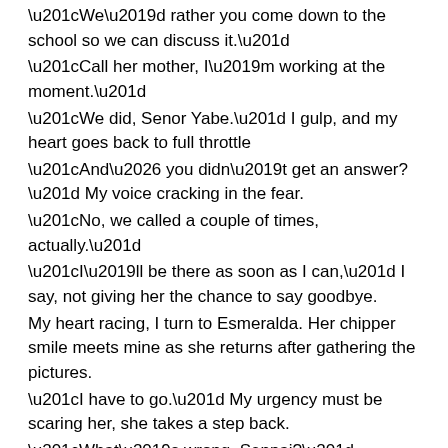“We’d rather you come down to the school so we can discuss it.”
“Call her mother, I’m working at the moment.”
“We did, Senor Yabe.” I gulp, and my heart goes back to full throttle
“And… you didn’t get an answer?” My voice cracking in the fear.
“No, we called a couple of times, actually.”
“I’ll be there as soon as I can,” I say, not giving her the chance to say goodbye.
My heart racing, I turn to Esmeralda. Her chipper smile meets mine as she returns after gathering the pictures.
“I have to go.” My urgency must be scaring her, she takes a step back.
“What’s wrong, Senpai?”
“I have to get Hako-chan from school, and my wife is not answering her phone.”